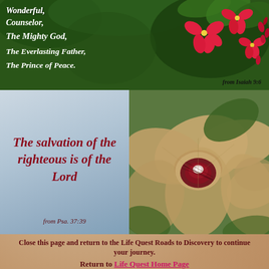[Figure (photo): Top banner with dark green and red background showing red tropical flowers top right, with white bold italic Bible verse text overlaid: 'Wonderful, Counselor, The Mighty God, The Everlasting Father, The Prince of Peace.' and 'from Isaiah 9:6' in bottom right]
[Figure (photo): Left panel with light blue-grey watery background showing italic bold dark red text: 'The salvation of the righteous is of the Lord' and 'from Psa. 37:39' at bottom. Right panel shows close-up photo of tan/cream orchid flowers with deep red-maroon center markings.]
Close this page and return to the Life Quest Roads to Discovery to continue your journey.
Return to Life Quest Home Page